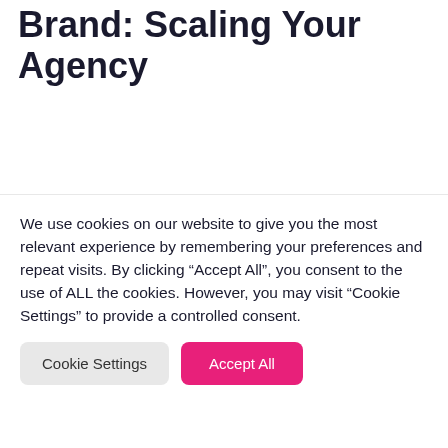Brand: Scaling Your Agency
Hite Creative complete around 300 websites per month, and we are constantly growing.
Scaling it wasn't easy, so I will be speaking about the impact of combining both Marketing services
We use cookies on our website to give you the most relevant experience by remembering your preferences and repeat visits. By clicking "Accept All", you consent to the use of ALL the cookies. However, you may visit "Cookie Settings" to provide a controlled consent.